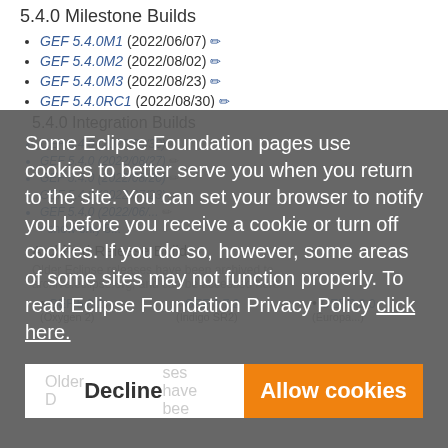5.4.0 Milestone Builds
GEF 5.4.0M1 (2022/06/07) ✏
GEF 5.4.0M2 (2022/08/02) ✏
GEF 5.4.0M3 (2022/08/23) ✏
GEF 5.4.0RC1 (2022/08/30) ✏
5.4.0 Integration Builds
Some Eclipse Foundation pages use cookies to better serve you when you return to the site. You can set your browser to notify you before you receive a cookie or turn off cookies. If you do so, however, some areas of some sites may not function properly. To read Eclipse Foundation Privacy Policy click here.
Archived Release Builds
Older Eclipse releases have been archived to archive.eclipse.org, and can be accessed here:
GEF 5.0.2
GEF 3.7.2 (Indigo SR2)
GEF 3.3.0